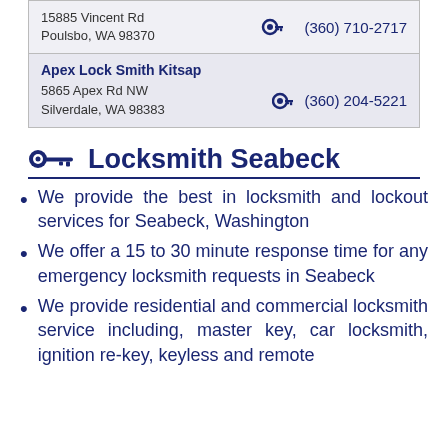| 15885 Vincent Rd
Poulsbo, WA 98370 | (360) 710-2717 |
| Apex Lock Smith Kitsap
5865 Apex Rd NW
Silverdale, WA 98383 | (360) 204-5221 |
Locksmith Seabeck
We provide the best in locksmith and lockout services for Seabeck, Washington
We offer a 15 to 30 minute response time for any emergency locksmith requests in Seabeck
We provide residential and commercial locksmith service including, master key, car locksmith, ignition re-key, keyless and remote